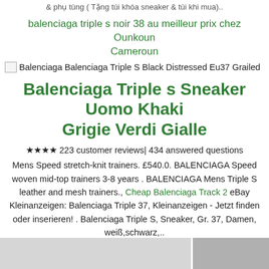& phụ tùng (Tặng túi khóa sneaker & túi khi mua)..
balenciaga triple s noir 38 au meilleur prix chez Ounkoun Cameroun
[Figure (other): Broken image placeholder with alt text: Balenciaga Balenciaga Triple S Black Distressed Eu37 Grailed]
Balenciaga Triple s Sneaker Uomo Khaki Grigie Verdi Gialle
★★★★ 223 customer reviews| 434 answered questions Mens Speed stretch-knit trainers. £540.0. BALENCIAGA Speed woven mid-top trainers 3-8 years . BALENCIAGA Mens Triple S leather and mesh trainers., Cheap Balenciaga Track 2 eBay Kleinanzeigen: Balenciaga Triple 37, Kleinanzeigen - Jetzt finden oder inserieren! . Balenciaga Triple S, Sneaker, Gr. 37, Damen, weiß,schwarz,..
Balenciaga Triple S Split Bump
[Figure (photo): Bottom portion of page showing a partial product photo of sneakers on light background, split into two sections]